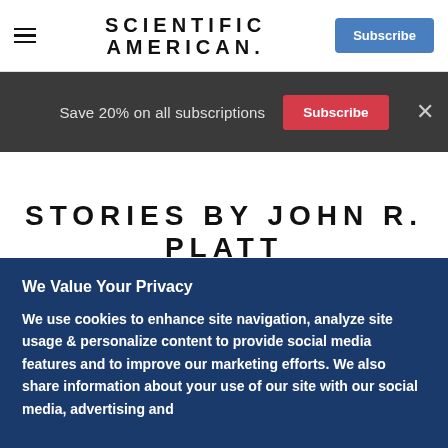Scientific American
Save 20% on all subscriptions  Subscribe  ×
STORIES BY JOHN R. PLATT
We Value Your Privacy
We use cookies to enhance site navigation, analyze site usage & personalize content to provide social media features and to improve our marketing efforts. We also share information about your use of our site with our social media, advertising and